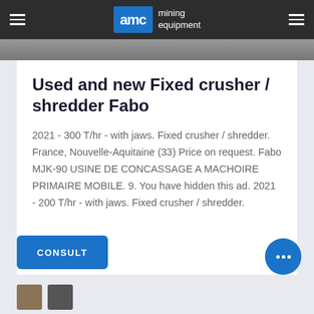AMC mining equipment
Used and new Fixed crusher / shredder Fabo
2021 - 300 T/hr - with jaws. Fixed crusher / shredder. France, Nouvelle-Aquitaine (33) Price on request. Fabo MJK-90 USINE DE CONCASSAGE A MACHOIRE PRIMAIRE MOBILE. 9. You have hidden this ad. 2021 - 200 T/hr - with jaws. Fixed crusher / shredder.
[Figure (other): CONSULT button in blue]
[Figure (other): Chat bubble icon in blue]